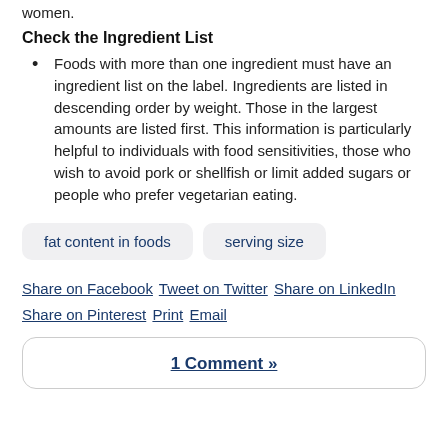women.
Check the Ingredient List
Foods with more than one ingredient must have an ingredient list on the label. Ingredients are listed in descending order by weight. Those in the largest amounts are listed first. This information is particularly helpful to individuals with food sensitivities, those who wish to avoid pork or shellfish or limit added sugars or people who prefer vegetarian eating.
fat content in foods   serving size
Share on Facebook  Tweet on Twitter  Share on LinkedIn  Share on Pinterest  Print  Email
1 Comment »